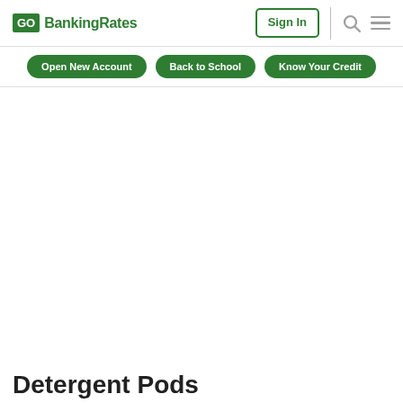GO BankingRates | Sign In
Open New Account | Back to School | Know Your Credit
Detergent Pods